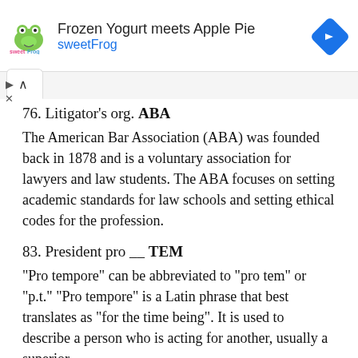[Figure (other): Advertisement banner for sweetFrog: 'Frozen Yogurt meets Apple Pie' with sweetFrog logo and navigation diamond icon]
76. Litigator's org. ABA
The American Bar Association (ABA) was founded back in 1878 and is a voluntary association for lawyers and law students. The ABA focuses on setting academic standards for law schools and setting ethical codes for the profession.
83. President pro __ TEM
"Pro tempore" can be abbreviated to "pro tem" or "p.t." "Pro tempore" is a Latin phrase that best translates as "for the time being". It is used to describe a person who is acting for another, usually a superior.
87. "Fawlty Towers" producer, with "the" BEEB